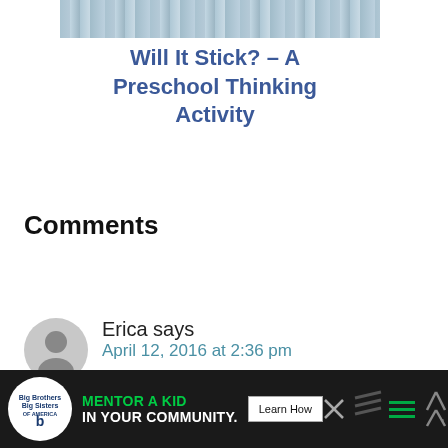[Figure (photo): Partial photo at the top, appears to be a winter or water-related scene with blue/grey tones]
Will It Stick? – A Preschool Thinking Activity
Comments
Erica says
April 12, 2016 at 2:36 pm
I love this idea!!!
[Figure (infographic): Advertisement banner: Big Brothers Big Sisters logo. Text: MENTOR A KID IN YOUR COMMUNITY. Learn How button.]